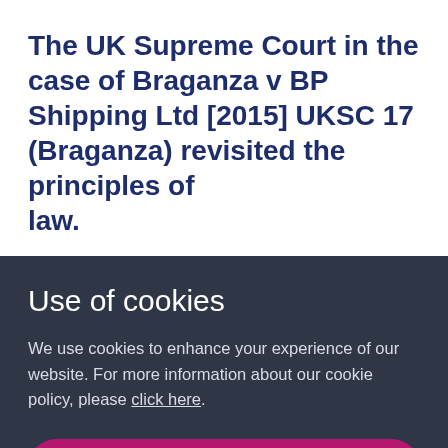The UK Supreme Court in the case of Braganza v BP Shipping Ltd [2015] UKSC 17 (Braganza) revisited the principles of law.
Use of cookies
We use cookies to enhance your experience of our website. For more information about our cookie policy, please click here.
ACCEPT COOKIES
MANAGE PERMISSIONS